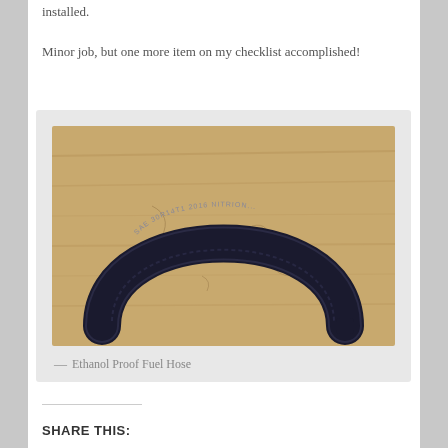installed.
Minor job, but one more item on my checklist accomplished!
[Figure (photo): A black ethanol proof fuel hose coiled in a U-shape on a wooden surface. The hose has text printed on it reading 'SAE 30R14T1 2016 NITRION...']
Ethanol Proof Fuel Hose
SHARE THIS: